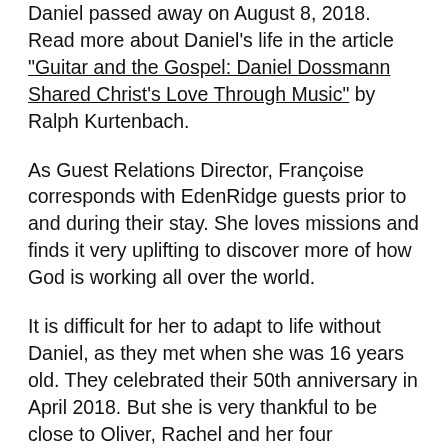Daniel passed away on August 8, 2018. Read more about Daniel's life in the article "Guitar and the Gospel: Daniel Dossmann Shared Christ's Love Through Music" by Ralph Kurtenbach.
As Guest Relations Director, Françoise corresponds with EdenRidge guests prior to and during their stay. She loves missions and finds it very uplifting to discover more of how God is working all over the world.
It is difficult for her to adapt to life without Daniel, as they met when she was 16 years old. They celebrated their 50th anniversary in April 2018. But she is very thankful to be close to Oliver, Rachel and her four grandchildren and to enhance her missionary vision through EdenRidge.